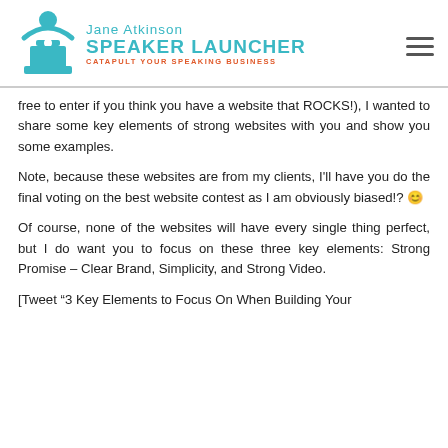[Figure (logo): Jane Atkinson Speaker Launcher logo with teal figure icon and 'CATAPULT YOUR SPEAKING BUSINESS' tagline in red]
free to enter if you think you have a website that ROCKS!), I wanted to share some key elements of strong websites with you and show you some examples.
Note, because these websites are from my clients, I'll have you do the final voting on the best website contest as I am obviously biased!? 😊
Of course, none of the websites will have every single thing perfect, but I do want you to focus on these three key elements: Strong Promise – Clear Brand, Simplicity, and Strong Video.
[Tweet "3 Key Elements to Focus On When Building Your